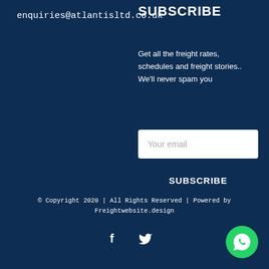enquiries@atlantisltd.co.uk
SUBSCRIBE
Get all the freight rates, schedules and freight stories.. We'll never spam you
[Figure (other): Email input field with placeholder text 'Your email']
SUBSCRIBE
© Copyright 2020 | All Rights Reserved | Powered by Freightwebsite.design
[Figure (other): Social media icons: Facebook and Twitter]
[Figure (other): WhatsApp green circular button icon]